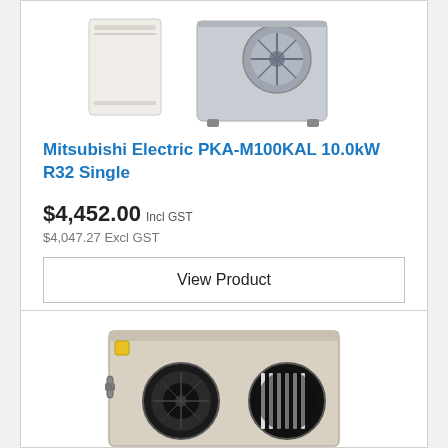[Figure (photo): Mitsubishi Electric PKA-M100KAL air conditioning unit - indoor wall unit (white rectangular panel) and outdoor unit (grey fan unit) shown side by side]
Mitsubishi Electric PKA-M100KAL 10.0kW R32 Single
$4,452.00 Incl GST
$4,047.27 Excl GST
View Product
[Figure (photo): HVAC unit - a beige/cream colored rectangular box unit with two circular duct openings on the front face, appears to be a ducted air conditioning or heat recovery ventilation unit]